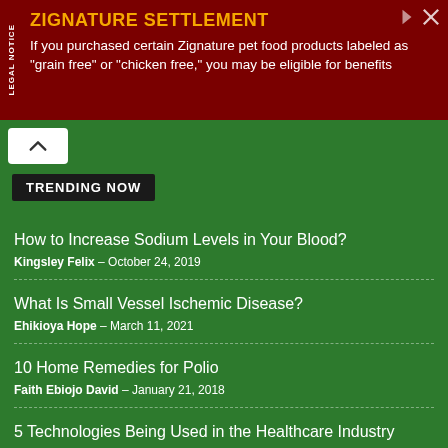[Figure (infographic): Legal notice advertisement banner for Zignature Settlement. Dark red background with 'LEGAL NOTICE' written vertically on left side. Title reads 'ZIGNATURE SETTLEMENT' in orange. Body text: 'If you purchased certain Zignature pet food products labeled as "grain free" or "chicken free," you may be eligible for benefits']
TRENDING NOW
How to Increase Sodium Levels in Your Blood?
Kingsley Felix – October 24, 2019
What Is Small Vessel Ischemic Disease?
Ehikioya Hope – March 11, 2021
10 Home Remedies for Polio
Faith Ebiojo David – January 21, 2018
5 Technologies Being Used in the Healthcare Industry
Editoral Staff – January 19, 2021
7 Types of Disability and Examples
Guest Author – October 28, 2017